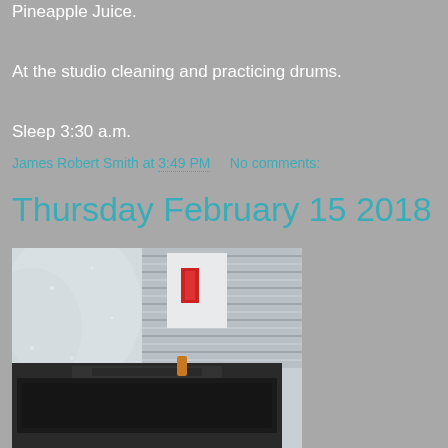Pineapple Juice.
At the studio cleaning and practicing drums.
Sleep 3:30 a.m.
James Robert Smith at 3:49 PM    No comments:
Thursday February 15 2018
[Figure (photo): Indoor photo of a music studio showing a guitar amplifier (appears to be a Fender) in the foreground and corrugated metal wall panels in the background, with some atmospheric haze or smoke visible]